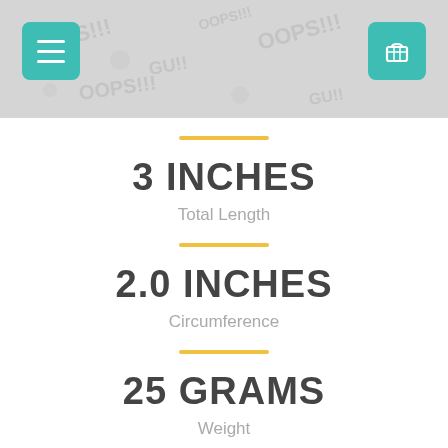[Figure (illustration): Header banner with repeating comic-style pattern (OOPS!!! and GU!! text/imagery) in gray tones, with teal menu button on left and teal shopping cart button on right]
3 INCHES
Total Length
2.0 INCHES
Circumference
25 GRAMS
Weight